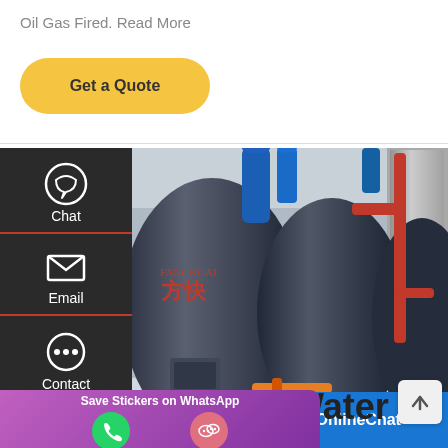Oil Gas Fired. Read More
Get a Quote
[Figure (photo): Industrial boiler room with large cylindrical boilers, blue pipes on top, red pipes on the right side, orange/yellow piping at base, and Chinese text (方快/FANGKUAI) on the barrels. Multiple boilers visible in a facility setting.]
Chat
Email
Contact
Save Stickers on WhatsApp
Coal Hot Water
Leave Message
OnlineChat